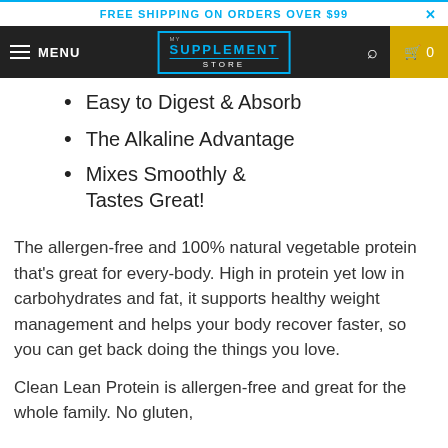FREE SHIPPING ON ORDERS OVER $99
[Figure (screenshot): Navigation bar with hamburger menu, MENU label, My Supplement Store logo, search icon, and cart icon with 0 items]
Easy to Digest & Absorb
The Alkaline Advantage
Mixes Smoothly & Tastes Great!
The allergen-free and 100% natural vegetable protein that’s great for every-body. High in protein yet low in carbohydrates and fat, it supports healthy weight management and helps your body recover faster, so you can get back doing the things you love.
Clean Lean Protein is allergen-free and great for the whole family. No gluten,